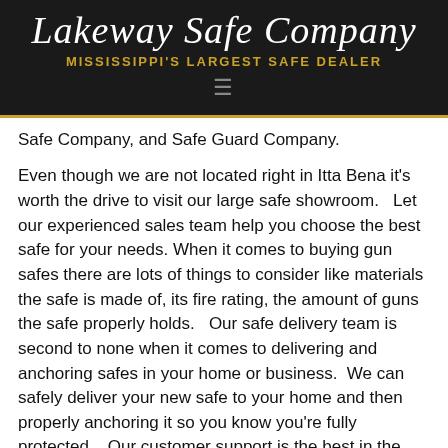Lakeway Safe Company — MISSISSIPPI'S LARGEST SAFE DEALER
Safe Company, and Safe Guard Company.
Even though we are not located right in Itta Bena it's worth the drive to visit our large safe showroom.   Let our experienced sales team help you choose the best safe for your needs. When it comes to buying gun safes there are lots of things to consider like materials the safe is made of, its fire rating, the amount of guns the safe properly holds.   Our safe delivery team is second to none when it comes to delivering and anchoring safes in your home or business.  We can safely deliver your new safe to your home and then properly anchoring it so you know you're fully protected.   Our customer support is the best in the business when it comes to support after the sale.